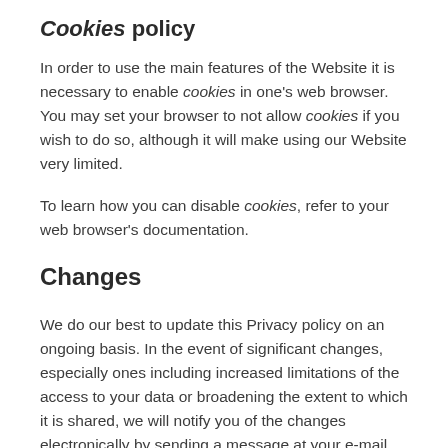Cookies policy
In order to use the main features of the Website it is necessary to enable cookies in one’s web browser. You may set your browser to not allow cookies if you wish to do so, although it will make using our Website very limited.
To learn how you can disable cookies, refer to your web browser’s documentation.
Changes
We do our best to update this Privacy policy on an ongoing basis. In the event of significant changes, especially ones including increased limitations of the access to your data or broadening the extent to which it is shared, we will notify you of the changes electronically by sending a message at your e-mail address, although we reserve the right to make